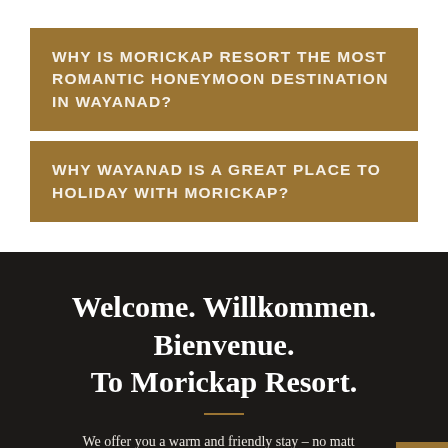WHY IS MORICKAP RESORT THE MOST ROMANTIC HONEYMOON DESTINATION IN WAYANAD?
WHY WAYANAD IS A GREAT PLACE TO HOLIDAY WITH MORICKAP?
Welcome. Willkommen. Bienvenue. To Morickap Resort.
We offer you a warm and friendly stay – no matt... always in the world home performance bit...